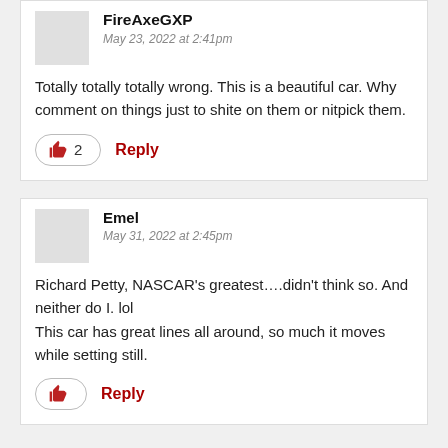FireAxeGXP
May 23, 2022 at 2:41pm
Totally totally totally wrong. This is a beautiful car. Why comment on things just to shite on them or nitpick them.
Emel
May 31, 2022 at 2:45pm
Richard Petty, NASCAR’s greatest….didn’t think so. And neither do I. lol
This car has great lines all around, so much it moves while setting still.